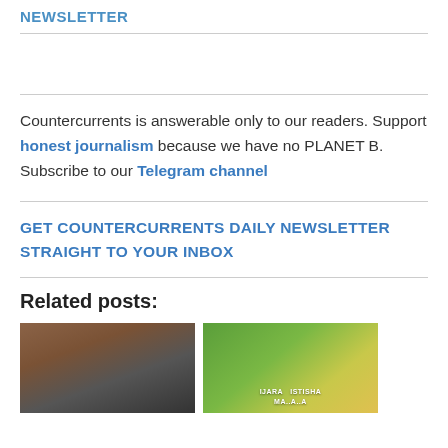NEWSLETTER
Countercurrents is answerable only to our readers. Support honest journalism because we have no PLANET B. Subscribe to our Telegram channel
GET COUNTERCURRENTS DAILY NEWSLETTER STRAIGHT TO YOUR INBOX
Related posts:
[Figure (photo): Street scene with brick buildings and shop signs]
[Figure (map): Green map with text overlay reading IJARA ISTISHA]